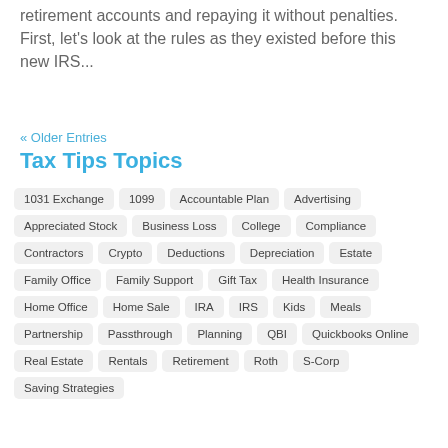retirement accounts and repaying it without penalties. First, let's look at the rules as they existed before this new IRS...
« Older Entries
Tax Tips Topics
1031 Exchange
1099
Accountable Plan
Advertising
Appreciated Stock
Business Loss
College
Compliance
Contractors
Crypto
Deductions
Depreciation
Estate
Family Office
Family Support
Gift Tax
Health Insurance
Home Office
Home Sale
IRA
IRS
Kids
Meals
Partnership
Passthrough
Planning
QBI
Quickbooks Online
Real Estate
Rentals
Retirement
Roth
S-Corp
Saving Strategies